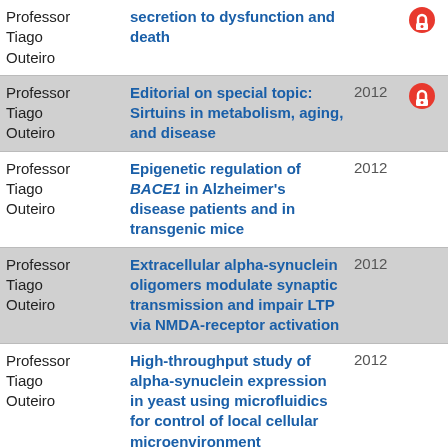| Author | Title | Year |  |
| --- | --- | --- | --- |
| Professor Tiago Outeiro | secretion to dysfunction and death |  | open-access |
| Professor Tiago Outeiro | Editorial on special topic: Sirtuins in metabolism, aging, and disease | 2012 | open-access |
| Professor Tiago Outeiro | Epigenetic regulation of BACE1 in Alzheimer's disease patients and in transgenic mice | 2012 |  |
| Professor Tiago Outeiro | Extracellular alpha-synuclein oligomers modulate synaptic transmission and impair LTP via NMDA-receptor activation | 2012 |  |
| Professor Tiago Outeiro | High-throughput study of alpha-synuclein expression in yeast using microfluidics for control of local cellular microenvironment | 2012 |  |
| Professor | Imaging protein | 2012 |  |